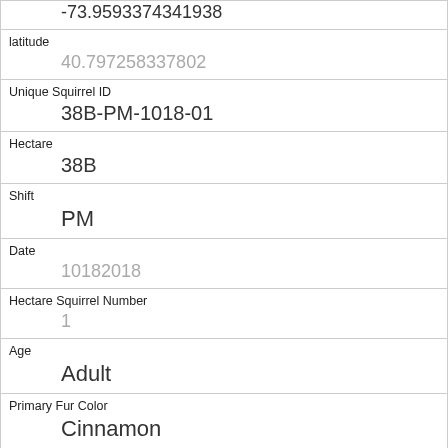| Field | Value |
| --- | --- |
| (longitude) | -73.9593374341938 |
| latitude | 40.797258337802 |
| Unique Squirrel ID | 38B-PM-1018-01 |
| Hectare | 38B |
| Shift | PM |
| Date | 10182018 |
| Hectare Squirrel Number | 1 |
| Age | Adult |
| Primary Fur Color | Cinnamon |
| Highlight Fur Color | Gray |
| Combination of Primary and Highlight Color | Cinnamon+Gray |